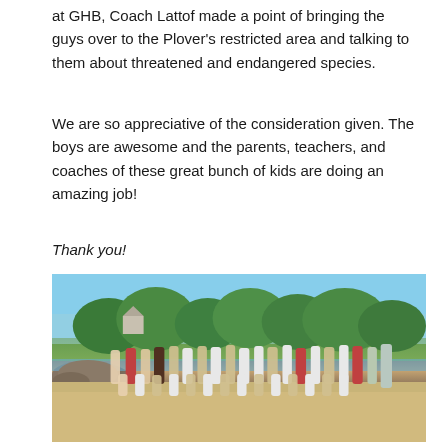at GHB, Coach Lattof made a point of bringing the guys over to the Plover's restricted area and talking to them about threatened and endangered species.
We are so appreciative of the consideration given. The boys are awesome and the parents, teachers, and coaches of these great bunch of kids are doing an amazing job!
Thank you!
[Figure (photo): A group photo of approximately 30 teenage boys and a coach posing on a sandy beach with trees, rocks, and water visible in the background on a sunny day.]